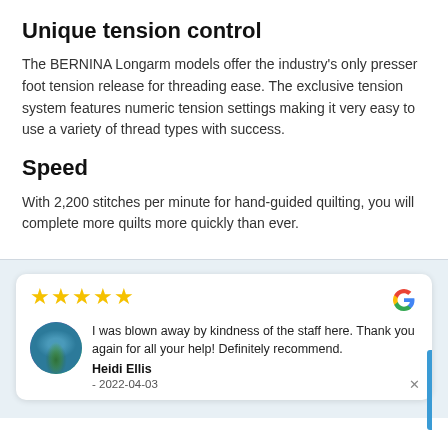Unique tension control
The BERNINA Longarm models offer the industry’s only presser foot tension release for threading ease. The exclusive tension system features numeric tension settings making it very easy to use a variety of thread types with success.
Speed
With 2,200 stitches per minute for hand-guided quilting, you will complete more quilts more quickly than ever.
I was blown away by kindness of the staff here. Thank you again for all your help! Definitely recommend.
Heidi Ellis
- 2022-04-03